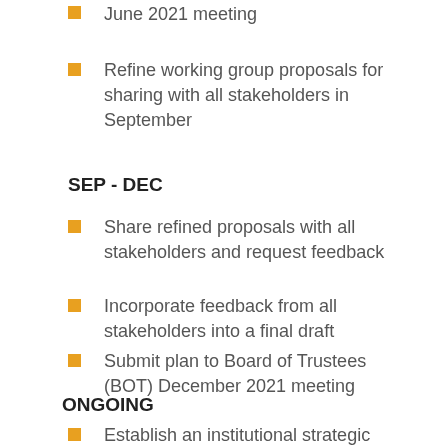June 2021 meeting
Refine working group proposals for sharing with all stakeholders in September
SEP - DEC
Share refined proposals with all stakeholders and request feedback
Incorporate feedback from all stakeholders into a final draft
Submit plan to Board of Trustees (BOT) December 2021 meeting
ONGOING
Establish an institutional strategic planning function and implementation team to ensure